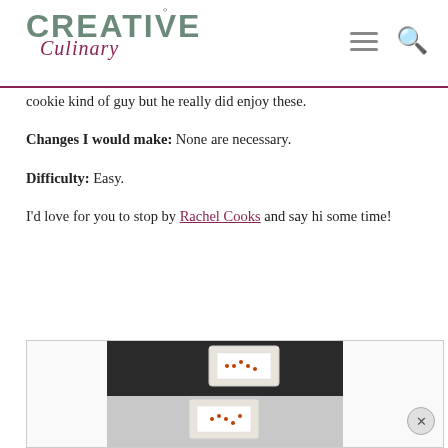Creative Culinary
cookie kind of guy but he really did enjoy these.
Changes I would make: None are necessary.
Difficulty: Easy.
I'd love for you to stop by Rachel Cooks and say hi some time!
[Figure (photo): Photo of square sandwich cookies with orange sprinkles on a dark background, partially blurred]